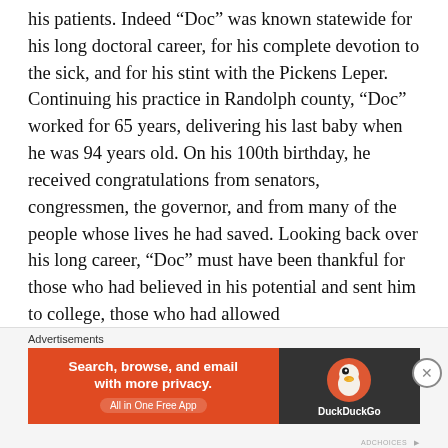his patients. Indeed “Doc” was known statewide for his long doctoral career, for his complete devotion to the sick, and for his stint with the Pickens Leper. Continuing his practice in Randolph county, “Doc” worked for 65 years, delivering his last baby when he was 94 years old. On his 100th birthday, he received congratulations from senators, congressmen, the governor, and from many of the people whose lives he had saved. Looking back over his long career, “Doc” must have been thankful for those who had believed in his potential and sent him to college, those who had allowed
Advertisements
[Figure (infographic): DuckDuckGo advertisement banner: orange left panel with text 'Search, browse, and email with more privacy. All in One Free App' and dark right panel with DuckDuckGo duck logo.]